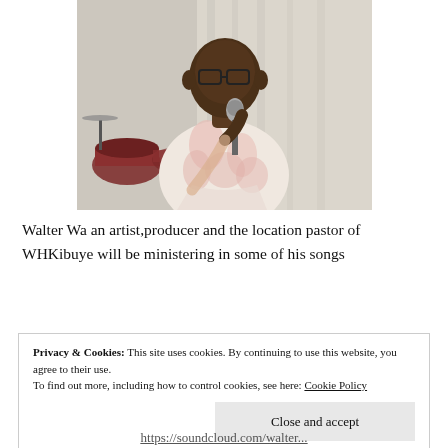[Figure (photo): A man in a floral pink shirt speaking into a microphone, with drum kit visible in the background]
Walter Wa an artist,producer and the location pastor of WHKibuye will be ministering in some of his songs
Privacy & Cookies: This site uses cookies. By continuing to use this website, you agree to their use.
To find out more, including how to control cookies, see here: Cookie Policy
Close and accept
https://soundcloud.com/walter...